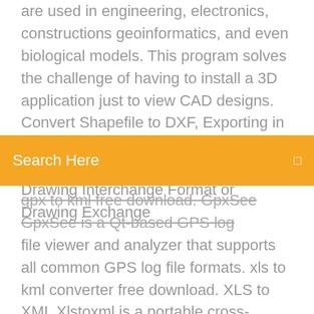are used in engineering, electronics, constructions geoinformatics, and even biological models. This program solves the challenge of having to install a 3D application just to view CAD designs. Convert Shapefile to DXF, Exporting in DXF format. DXF is a CAD (Computer Aided Design) file and it stands for Drawing Interchange Format or Drawing Exchange
Search Here
gpx to kml free download. GpxSee GpxSee is a Qt-based GPS log file viewer and analyzer that supports all common GPS log file formats. xls to kml converter free download. XLS to XML Xlstoxml is a portable cross-platform desktop application for file format translation between XLS/XL I happen to be one of the founding fathers of the GPX file format – I helped write the initial GPX 1.0 file format, and have written and maintained the GPX documentation since day 1. Convert between any GPS, GIS, CAD, or map format with ExpertGPS, an easy-to-use file converter and GPS map program. Convert between Lowrance